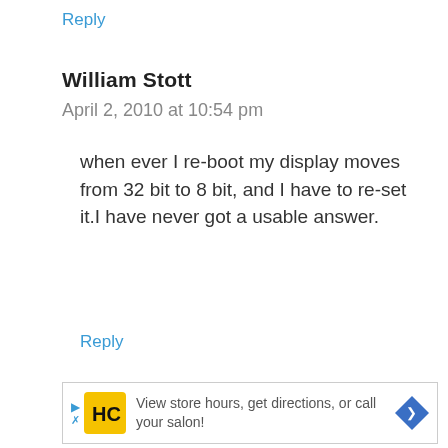Reply
William Stott
April 2, 2010 at 10:54 pm
when ever I re-boot my display moves from 32 bit to 8 bit, and I have to re-set it.I have never got a usable answer.
Reply
[Figure (other): Advertisement banner showing HC salon logo with text: View store hours, get directions, or call your salon! with a blue diamond arrow icon]